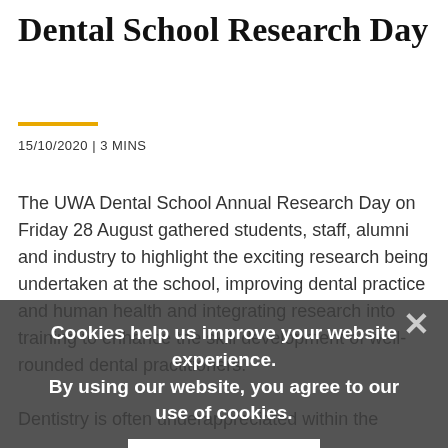Dental School Research Day
15/10/2020 | 3 MINS
The UWA Dental School Annual Research Day on Friday 28 August gathered students, staff, alumni and industry to highlight the exciting research being undertaken at the school, improving dental practice and human health and integrating research into training to enhance the skill development of well-rounded dental practitioners.
Dentistry is often underappreciated within the
Cookies help us improve your website experience.
By using our website, you agree to our use of cookies.
Confirm